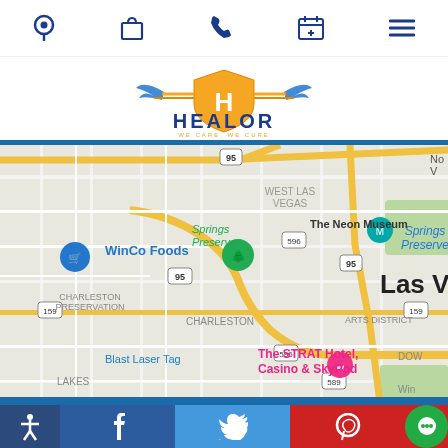[Figure (screenshot): Top navigation bar with location pin, shopping bag, phone, calendar/appointment, and hamburger menu icons in dark blue]
[Figure (logo): Healor logo: orange shield with H, blue wings, text HEALOR with tagline WE CARE, WE CURE]
[Figure (map): Google Maps screenshot showing Las Vegas area with landmarks: WinCo Foods, Springs Preserve, The Neon Museum, Charleston Preservation, Blast Laser Tag, The STRAT Hotel Casino & SkyPod, West Las Vegas, Arts District. Roads include US-95, US-596, US-159, US-589.]
[Figure (screenshot): Footer with social media icons: accessibility icon (dark blue), Facebook (dark blue), Twitter (light blue), Pinterest (red), chat circle (green)]